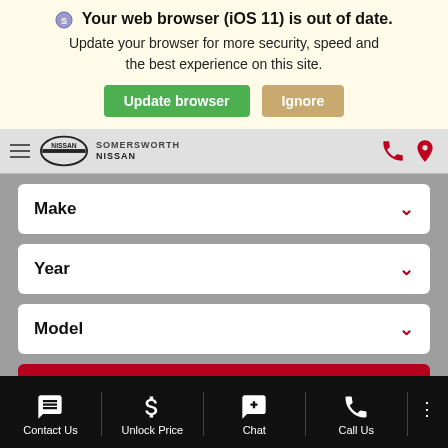Your web browser (iOS 11) is out of date. Update your browser for more security, speed and the best experience on this site. [Update browser] [Ignore]
[Figure (screenshot): Nissan Somersworth dealership website navigation bar with hamburger menu, Nissan logo, dealer name, phone and location icons]
Make
Year
Model
Search
Contact Us | Unlock Price | Chat | Call Us | (more options)